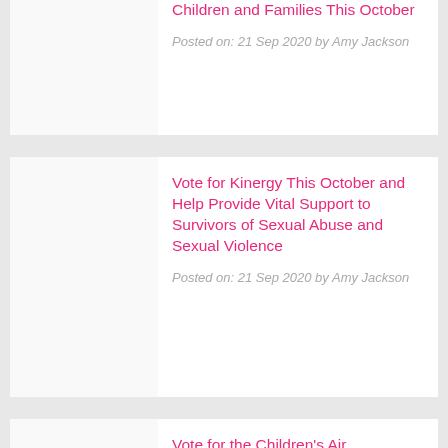Children and Families This October
Posted on: 21 Sep 2020 by Amy Jackson
Vote for Kinergy This October and Help Provide Vital Support to Survivors of Sexual Abuse and Sexual Violence
Posted on: 21 Sep 2020 by Amy Jackson
Vote for the Children's Air Ambulance This September